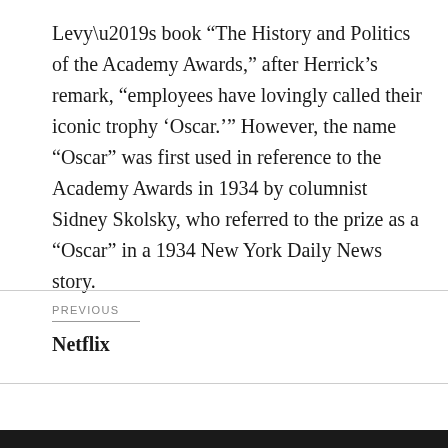Levy’s book “The History and Politics of the Academy Awards,” after Herrick’s remark, “employees have lovingly called their iconic trophy ‘Oscar.’” However, the name “Oscar” was first used in reference to the Academy Awards in 1934 by columnist Sidney Skolsky, who referred to the prize as a “Oscar” in a 1934 New York Daily News story.
PREVIOUS
Netflix